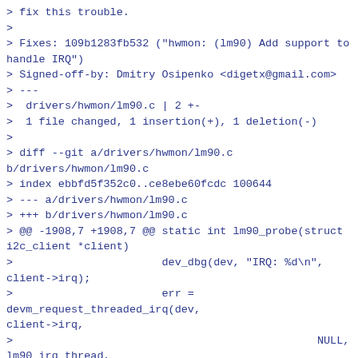> fix this trouble.
>
> Fixes: 109b1283fb532 ("hwmon: (lm90) Add support to handle IRQ")
> Signed-off-by: Dmitry Osipenko <digetx@gmail.com>
> ---
>  drivers/hwmon/lm90.c | 2 +-
>  1 file changed, 1 insertion(+), 1 deletion(-)
>
> diff --git a/drivers/hwmon/lm90.c b/drivers/hwmon/lm90.c
> index ebbfd5f352c0..ce8ebe60fcdc 100644
> --- a/drivers/hwmon/lm90.c
> +++ b/drivers/hwmon/lm90.c
> @@ -1908,7 +1908,7 @@ static int lm90_probe(struct i2c_client *client)
>  			dev_dbg(dev, "IRQ: %d\n", client->irq);
>  			err = devm_request_threaded_irq(dev, client->irq,
>  							NULL,
>  							lm90_irq_thread,
> -							IRQF_TRIGGER_LOW | IRQF_ONESHOT,
> +							IRQF_TRIGGER_FALLING | IRQF_ONESHOT,
>  							"lm90", client);

We can't do that. Problem is that many of the devices supported by this driver